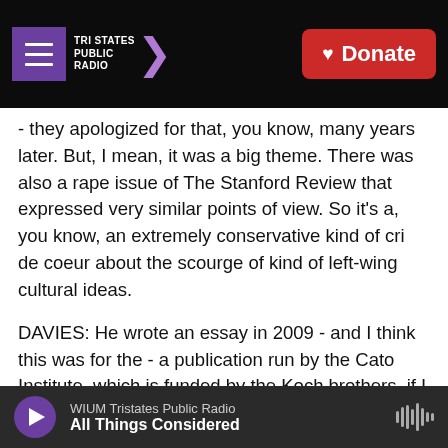Tri States Public Radio | Donate
- they apologized for that, you know, many years later. But, I mean, it was a big theme. There was also a rape issue of The Stanford Review that expressed very similar points of view. So it's a, you know, an extremely conservative kind of cri de coeur about the scourge of kind of left-wing cultural ideas.
DAVIES: He wrote an essay in 2009 - and I think this was for the - a publication run by the Cato Institute, which is funded by the Koch brothers, if I have this right - in which he said, among other things, I no longer believe democracy and freedom are
WIUM Tristates Public Radio | All Things Considered